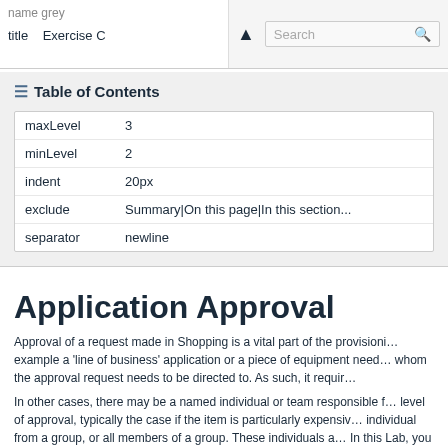name grey
title   Exercise C
| maxLevel | 3 |
| minLevel | 2 |
| indent | 20px |
| exclude | Summary|On this page|In this section... |
| separator | newline |
Application Approval
Approval of a request made in Shopping is a vital part of the provisioni... example a 'line of business' application or a piece of equipment need... whom the approval request needs to be directed to. As such, it requir...
In other cases, there may be a named individual or team responsible f... level of approval, typically the case if the item is particularly expensiv... individual from a group, or all members of a group. These individuals a... In this Lab, you will introduce Approval to some of the Applications yo...
Manager based approval